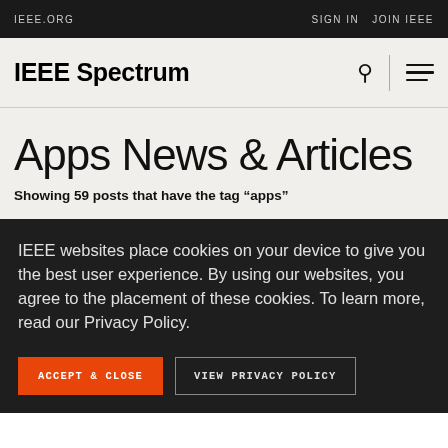IEEE.ORG   SIGN IN   JOIN IEEE
IEEE Spectrum
Apps News & Articles
Showing 59 posts that have the tag “apps”
IEEE websites place cookies on your device to give you the best user experience. By using our websites, you agree to the placement of these cookies. To learn more, read our Privacy Policy.
ACCEPT & CLOSE   VIEW PRIVACY POLICY